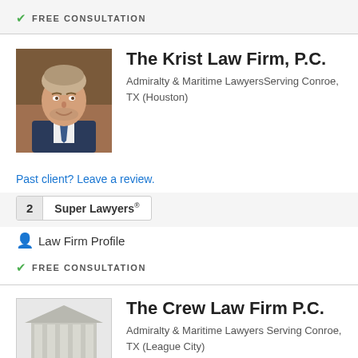✓ FREE CONSULTATION
The Krist Law Firm, P.C.
Admiralty & Maritime LawyersServing Conroe, TX (Houston)
Past client? Leave a review.
2  Super Lawyers®
Law Firm Profile
✓ FREE CONSULTATION
The Crew Law Firm P.C.
Admiralty & Maritime Lawyers Serving Conroe, TX (League City)